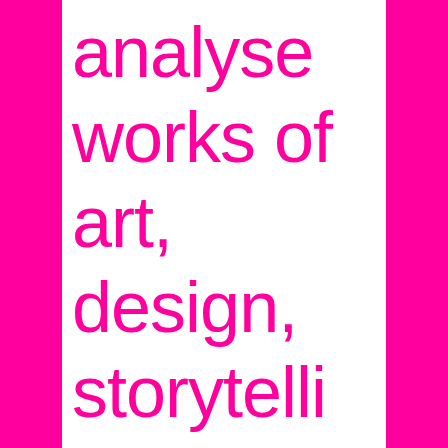analyse works of art, design, storytelling and